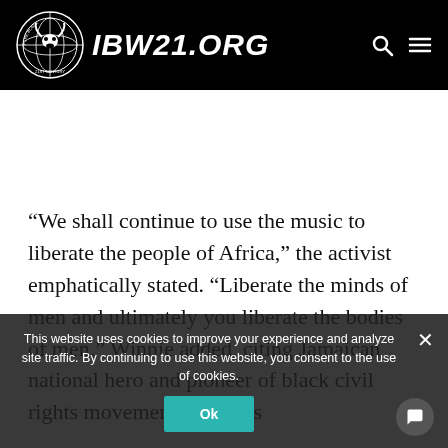IBW21.ORG
“We shall continue to use the music to liberate the people of Africa,” the activist emphatically stated. “Liberate the minds of men and ultimately you liberate the bodies of men,” Winnie added, citing Jamaican national hero and pioneer of black civil rights movements, Marcus
This website uses cookies to improve your experience and analyze site traffic. By continuing to use this website, you consent to the use of cookies.